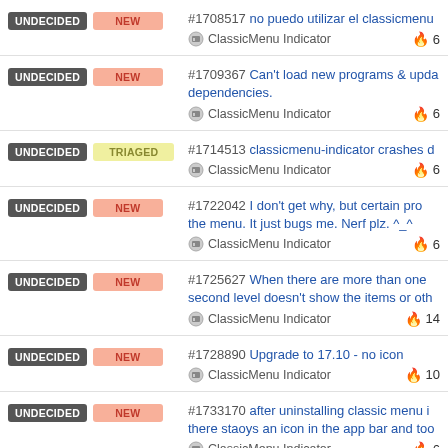UNDECIDED NEW #1708517 no puedo utilizar el classicmenu ClassicMenu Indicator 🔥 6
UNDECIDED NEW #1709367 Can't load new programs & upda... dependencies. ClassicMenu Indicator 🔥 6
UNDECIDED TRIAGED #1714513 classicmenu-indicator crashes d... ClassicMenu Indicator 🔥 6
UNDECIDED NEW #1722042 I don't get why, but certain pro... the menu. It just bugs me. Nerf plz. ^_^ ClassicMenu Indicator 🔥 6
UNDECIDED NEW #1725627 When there are more than one second level doesn't show the items or oth... ClassicMenu Indicator 🔥 14
UNDECIDED NEW #1728890 Upgrade to 17.10 - no icon ClassicMenu Indicator 🔥 10
UNDECIDED NEW #1733170 after uninstalling classic menu i... there staoys an icon in the app bar and too... ClassicMenu Indicator 🔥 6